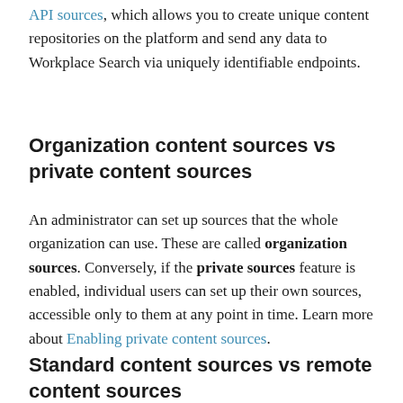API sources, which allows you to create unique content repositories on the platform and send any data to Workplace Search via uniquely identifiable endpoints.
Organization content sources vs private content sources
An administrator can set up sources that the whole organization can use. These are called organization sources. Conversely, if the private sources feature is enabled, individual users can set up their own sources, accessible only to them at any point in time. Learn more about Enabling private content sources.
Standard content sources vs remote content sources